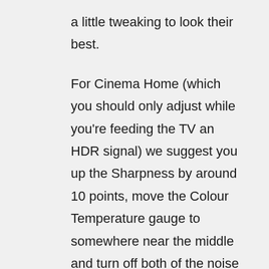a little tweaking to look their best.
For Cinema Home (which you should only adjust while you're feeding the TV an HDR signal) we suggest you up the Sharpness by around 10 points, move the Colour Temperature gauge to somewhere near the middle and turn off both of the noise reduction features.
There's no perfect TruMotion setting either, as we've discussed, so you'll want to experiment with that and make a selection based on personal preference.